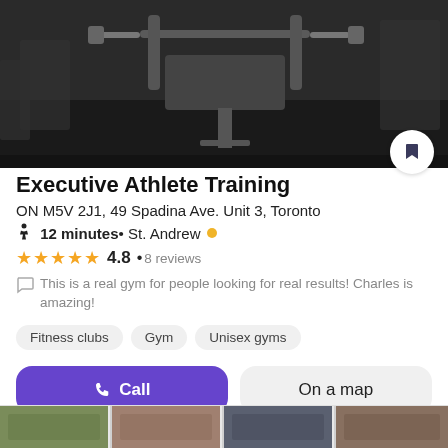[Figure (photo): Black and white photo of gym equipment including a weight bench and barbells]
Executive Athlete Training
ON M5V 2J1, 49 Spadina Ave. Unit 3, Toronto
🚶 12 minutes • St. Andrew ●
★★★★★ 4.8 • 8 reviews
This is a real gym for people looking for real results! Charles is amazing!
Fitness clubs
Gym
Unisex gyms
Call
On a map
[Figure (photo): Thumbnail photos of the gym at the bottom of the page]